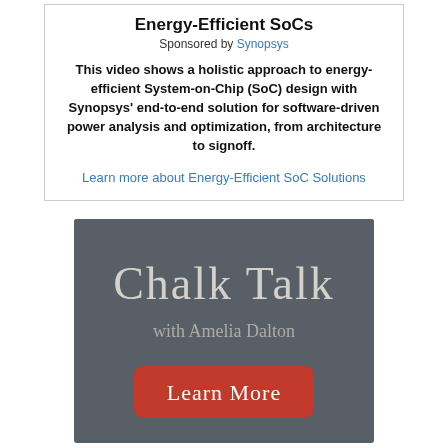Energy-Efficient SoCs
Sponsored by Synopsys
This video shows a holistic approach to energy-efficient System-on-Chip (SoC) design with Synopsys' end-to-end solution for software-driven power analysis and optimization, from architecture to signoff.
Learn more about Energy-Efficient SoC Solutions
[Figure (illustration): Chalk Talk with Amelia Dalton promotional banner on dark chalkboard background with a red 'Learn More' button]